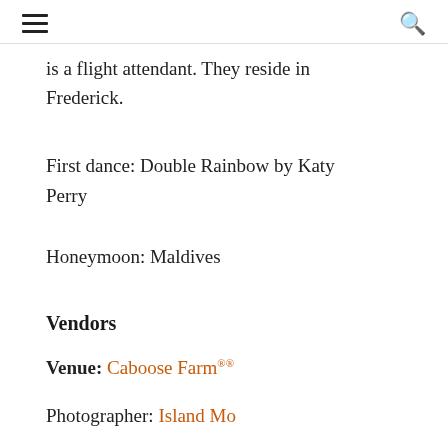≡  🔍
is a flight attendant. They reside in Frederick.
First dance: Double Rainbow by Katy Perry

Honeymoon: Maldives
Vendors
Venue: Caboose Farm®®
Photographer: [partial]